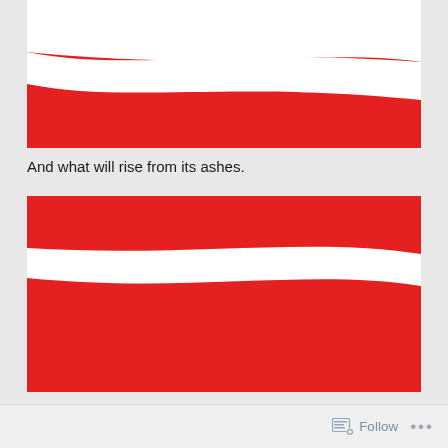[Figure (illustration): Red background with a white wave/ribbon shape crossing diagonally, Coca-Cola style wave graphic]
And what will rise from its ashes.
[Figure (illustration): Red background with a white wave/ribbon shape crossing diagonally from right side, inverted Coca-Cola style wave graphic]
Follow ...